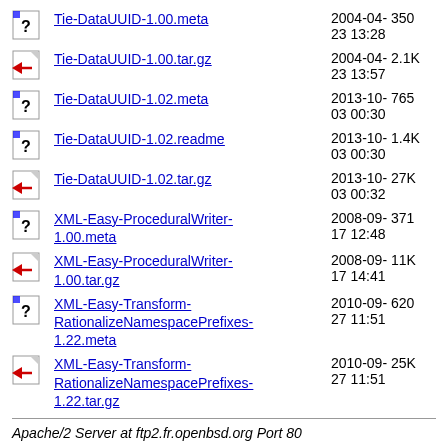Tie-DataUUID-1.00.meta  2004-04-23 13:28  350
Tie-DataUUID-1.00.tar.gz  2004-04-23 13:57  2.1K
Tie-DataUUID-1.02.meta  2013-10-03 00:30  765
Tie-DataUUID-1.02.readme  2013-10-03 00:30  1.4K
Tie-DataUUID-1.02.tar.gz  2013-10-03 00:32  27K
XML-Easy-ProceduralWriter-1.00.meta  2008-09-17 12:48  371
XML-Easy-ProceduralWriter-1.00.tar.gz  2008-09-17 14:41  11K
XML-Easy-Transform-RationalizeNamespacePrefixes-1.22.meta  2010-09-27 11:51  620
XML-Easy-Transform-RationalizeNamespacePrefixes-1.22.tar.gz  2010-09-27 11:51  25K
Apache/2 Server at ftp2.fr.openbsd.org Port 80